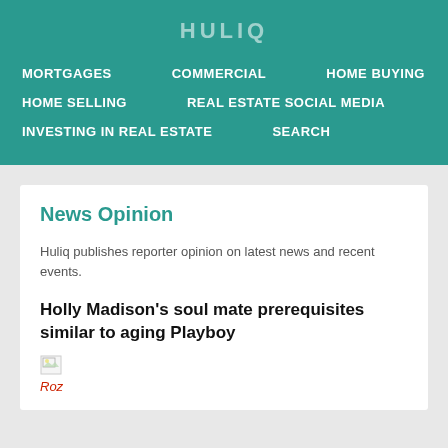HULIQ
MORTGAGES   COMMERCIAL   HOME BUYING   HOME SELLING   REAL ESTATE SOCIAL MEDIA   INVESTING IN REAL ESTATE   SEARCH
News Opinion
Huliq publishes reporter opinion on latest news and recent events.
Holly Madison's soul mate prerequisites similar to aging Playboy
[Figure (photo): Broken image thumbnail]
Roz